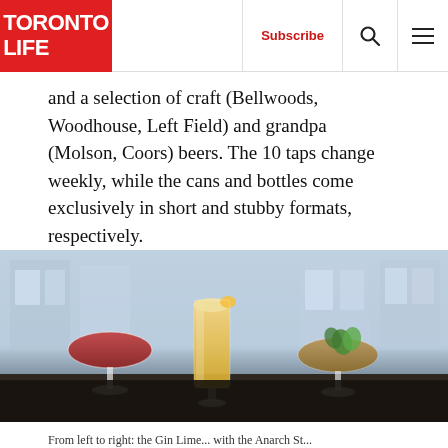TORONTO LIFE | Subscribe
and a selection of craft (Bellwoods, Woodhouse, Left Field) and grandpa (Molson, Coors) beers. The 10 taps change weekly, while the cans and bottles come exclusively in short and stubby formats, respectively.
[Figure (photo): Three cocktails on a bar surface in front of a blurred street-facing window. Left: a red coupe glass. Center: a tall yellow drink with a citrus garnish. Right: a brown coupe glass with mint garnish.]
From left to right: the Gin Lime... with the Anarch St...